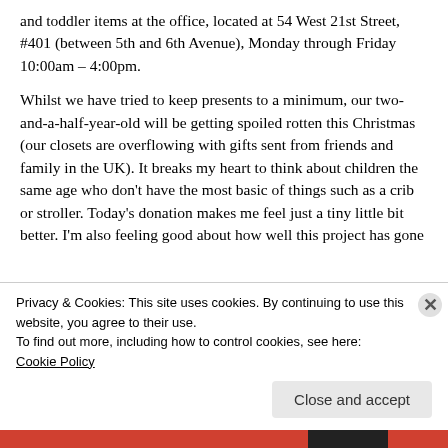and toddler items at the office, located at 54 West 21st Street, #401 (between 5th and 6th Avenue), Monday through Friday 10:00am – 4:00pm.
Whilst we have tried to keep presents to a minimum, our two-and-a-half-year-old will be getting spoiled rotten this Christmas (our closets are overflowing with gifts sent from friends and family in the UK). It breaks my heart to think about children the same age who don't have the most basic of things such as a crib or stroller.  Today's donation makes me feel just a tiny little bit better. I'm also feeling good about how well this project has gone
Privacy & Cookies: This site uses cookies. By continuing to use this website, you agree to their use.
To find out more, including how to control cookies, see here: Cookie Policy
Close and accept